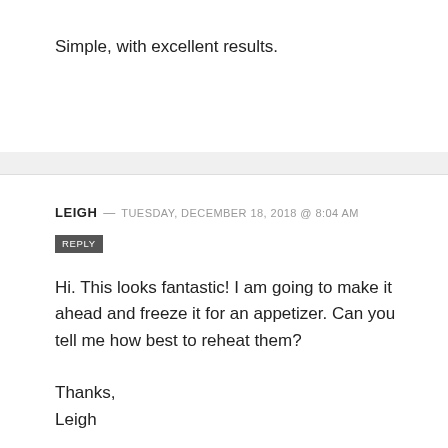Simple, with excellent results.
LEIGH — TUESDAY, DECEMBER 18, 2018 @ 8:04 AM
REPLY
Hi. This looks fantastic! I am going to make it ahead and freeze it for an appetizer. Can you tell me how best to reheat them?
Thanks,
Leigh
[Figure (photo): Advertisement banner showing hands forming a heart shape with text LOVE > HATE and close button]